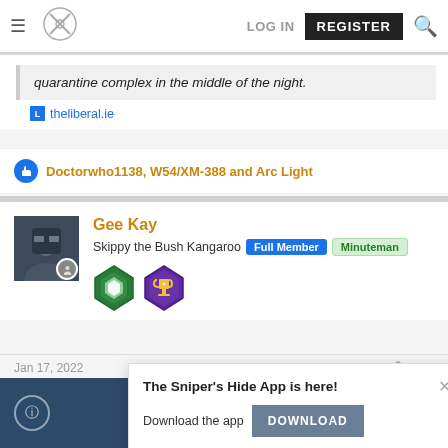LOG IN  REGISTER
quarantine complex in the middle of the night.
theliberal.ie
Doctorwho1138, W54/XM-388 and Arc Light
Gee Kay
Skippy the Bush Kangaroo  Full Member  Minuteman
Jan 17, 2022  #37
[Figure (screenshot): Dark blue media strip with info icon, up arrow and down arrow navigation buttons]
The Sniper's Hide App is here!
Download the app  DOWNLOAD